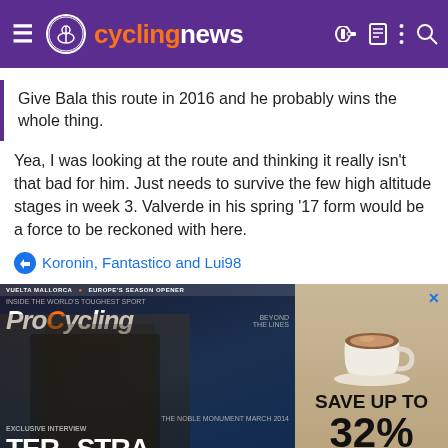cyclingnews
Give Bala this route in 2016 and he probably wins the whole thing.
Yea, I was looking at the route and thinking it really isn't that bad for him. Just needs to survive the few high altitude stages in week 3. Valverde in his spring '17 form would be a force to be reckoned with here.
Koronin, Fantastico and Lui98
[Figure (photo): Advertisement for ProCycling magazine showing a cyclist on the cover with text 'SAVE UP TO 32%' and a coffee cup on the right side]